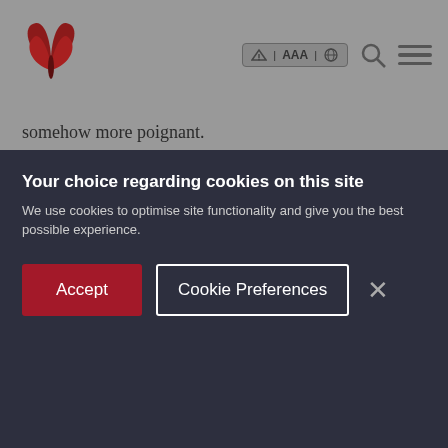[Hospice/charity website header with butterfly logo and accessibility controls]
somehow more poignant.
We would like to invite you to join us at one of these remembrance evenings.
In return for a donation, you can dedicate a light on one of our Christmas trees in memory of your loved one and have their name included in the service. Your gift will help to ensure we can keep caring for patients and families who need us now and in the future.
Your choice regarding cookies on this site
We use cookies to optimise site functionality and give you the best possible experience.